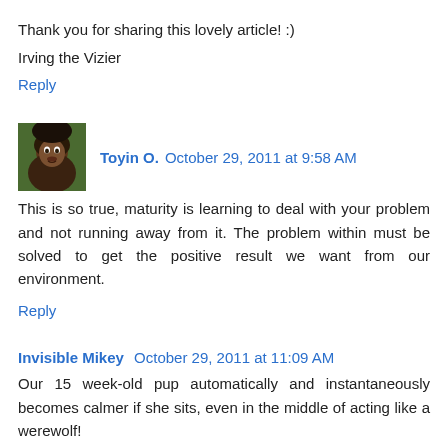Thank you for sharing this lovely article! :)
Irving the Vizier
Reply
Toyin O.  October 29, 2011 at 9:58 AM
This is so true, maturity is learning to deal with your problem and not running away from it. The problem within must be solved to get the positive result we want from our environment.
Reply
Invisible Mikey  October 29, 2011 at 11:09 AM
Our 15 week-old pup automatically and instantaneously becomes calmer if she sits, even in the middle of acting like a werewolf!
Perhaps "sit" should be a command added to the